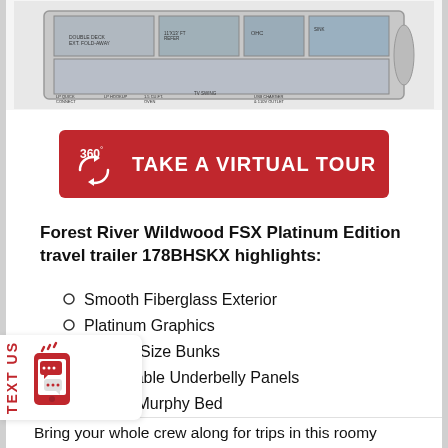[Figure (schematic): RV floorplan schematic/diagram showing top-down layout of the travel trailer with labeled components]
[Figure (infographic): Red button with 360° icon and text 'TAKE A VIRTUAL TOUR']
Forest River Wildwood FSX Platinum Edition travel trailer 178BHSKX highlights:
Smooth Fiberglass Exterior
Platinum Graphics
Double-Size Bunks
Removable Underbelly Panels
Queen Murphy Bed
Bring your whole crew along for trips in this roomy